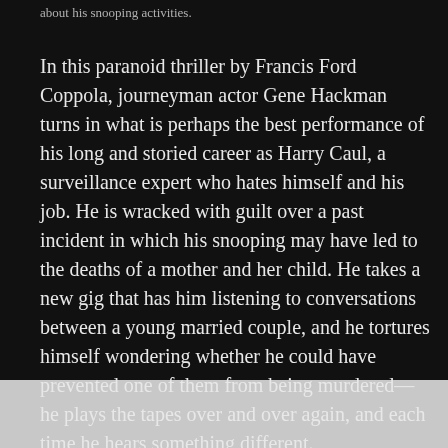about his snooping activities.
In this paranoid thriller by Francis Ford Coppola, journeyman actor Gene Hackman turns in what is perhaps the best performance of his long and storied career as Harry Caul, a surveillance expert who hates himself and his job. He is wracked with guilt over a past incident in which his snooping may have led to the deaths of a mother and her child. He takes a new gig that has him listening to conversations between a young married couple, and he tortures himself wondering whether he could have prevented one of them from being murdered—he plays the tapes over and over again, and each time he hears something different.